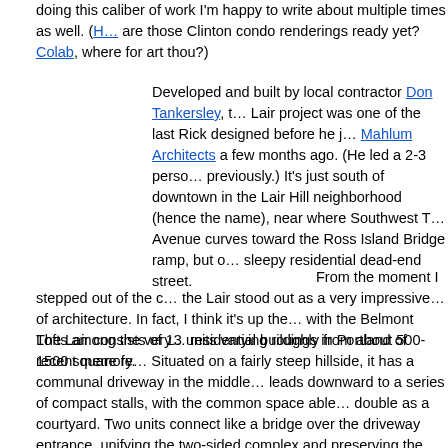doing this caliber of work I'm happy to write about multiple times as well. (H… are those Clinton condo renderings ready yet? Colab, where for art thou?)
Developed and built by local contractor Don Tankersley, t… Lair project was one of the last Rick designed before he j… Mahlum Architects a few months ago. (He led a 2-3 perso… previously.) It's just south of downtown in the Lair Hill neighborhood (hence the name), near where Southwest T… Avenue curves toward the Ross Island Bridge ramp, but o… sleepy residential dead-end street.
From the moment I stepped out of the c… the Lair stood out as a very impressive… of architecture. In fact, I think it's up the… with the Belmont Lofts among the very… residential buildings in Portland of recent memory.
The Lair consists of 13 units varying roughly from about 500-1500 square fe… Situated on a fairly steep hillside, it has a communal driveway in the middle… leads downward to a series of compact stalls, with the common space able… double as a courtyard. Two units connect like a bridge over the driveway entrance, unifying the two-sided complex and preserving the integrity and continuity of its front façade, where floor-to-ceiling glass windows extend ge… from a Richard Meier-esque white shell.